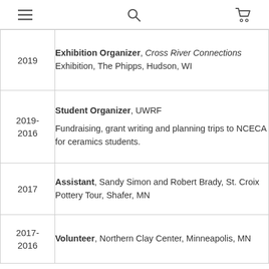Navigation header with menu, search, and cart icons
| Year | Role |
| --- | --- |
| 2019 | Exhibition Organizer, Cross River Connections Exhibition, The Phipps, Hudson, WI |
| 2019-
2016 | Student Organizer, UWRF
Fundraising, grant writing and planning trips to NCECA for ceramics students. |
| 2017 | Assistant, Sandy Simon and Robert Brady, St. Croix Pottery Tour, Shafer, MN |
| 2017-
2016 | Volunteer, Northern Clay Center, Minneapolis, MN |